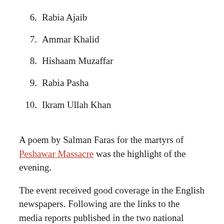6. Rabia Ajaib
7. Ammar Khalid
8. Hishaam Muzaffar
9. Rabia Pasha
10. Ikram Ullah Khan
A poem by Salman Faras for the martyrs of Peshawar Massacre was the highlight of the evening.
The event received good coverage in the English newspapers. Following are the links to the media reports published in the two national dailies:
1. Theatre Wallay organizes literary gathering